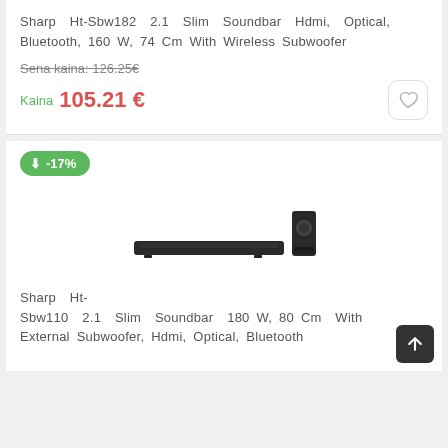Sharp Ht-Sbw182 2.1 Slim Soundbar Hdmi, Optical, Bluetooth, 160 W, 74 Cm With Wireless Subwoofer
Sena kaina: 126.25€
Kaina  105.21 €
[Figure (illustration): Product image: Sharp HT-SBW110 soundbar with external subwoofer, shown in black]
Sharp Ht-Sbw110 2.1 Slim Soundbar 180 W, 80 Cm With External Subwoofer, Hdmi, Optical, Bluetooth